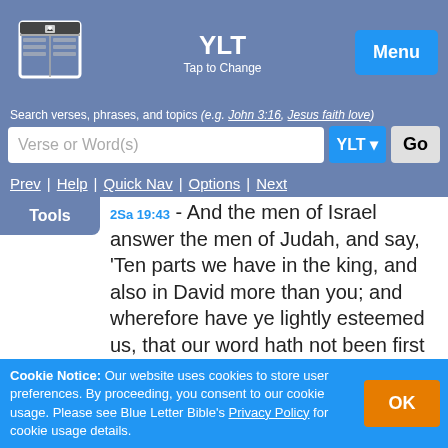YLT | Tap to Change | Menu
Search verses, phrases, and topics (e.g. John 3:16, Jesus faith love)
Verse or Word(s) | YLT | Go
Prev | Help | Quick Nav | Options | Next
Tools
2Sa 19:43 - And the men of Israel answer the men of Judah, and say, 'Ten parts we have in the king, and also in David more than you; and wherefore have ye lightly esteemed us, that our word hath not been first to bring back our king?' And the word of the men of Judah is sharper than the word of the men of Israel.
Cookie Notice: Our website uses cookies to store user preferences. By proceeding, you consent to our cookie usage. Please see Blue Letter Bible's Privacy Policy for cookie usage details. | OK